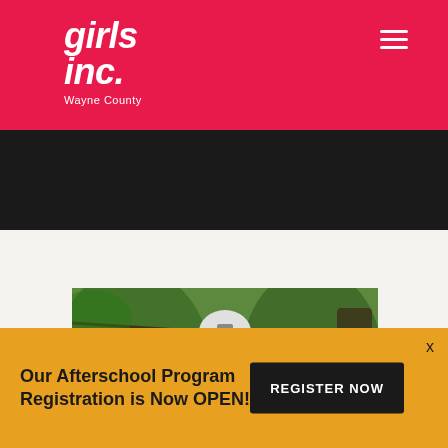girls inc. Wayne County
[Figure (photo): Girl wearing white helmet smiling on a zipline in a forested outdoor setting]
Our Afterschool Program Registration is Now OPEN!
REGISTER NOW